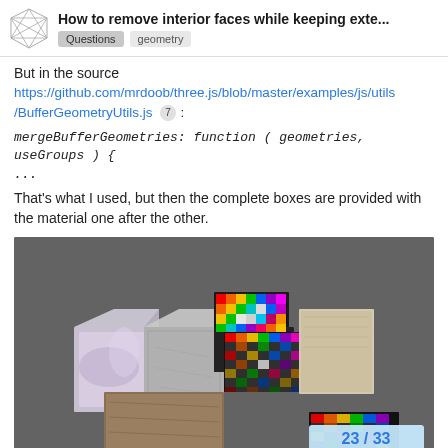How to remove interior faces while keeping exte... | Questions | geometry
But in the source
https://github.com/mrdoob/three.js/blob/master/examples/js/utils/BufferGeometryUtils.js 7 :
That's what I used, but then the complete boxes are provided with the material one after the other.
[Figure (screenshot): 3D rendering of multiple textured boxes/cubes arranged in a cross/plus shape, with various materials applied — stone, rainbow grid, fabric, wood textures — on a dark gray background. A pagination badge showing '23 / 33' appears in the lower right corner.]